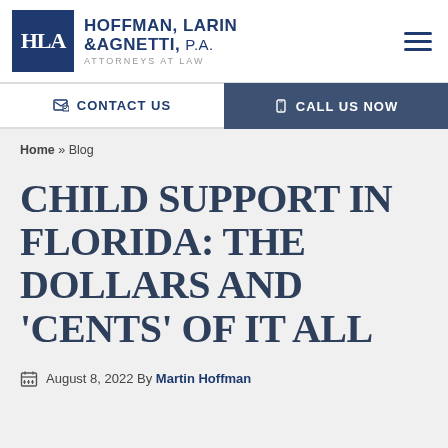[Figure (logo): Hoffman, Larin & Agnetti, P.A. law firm logo with HLA initials in blue square and firm name text]
CONTACT US | CALL US NOW
Home » Blog
CHILD SUPPORT IN FLORIDA: THE DOLLARS AND 'CENTS' OF IT ALL
August 8, 2022 By Martin Hoffman